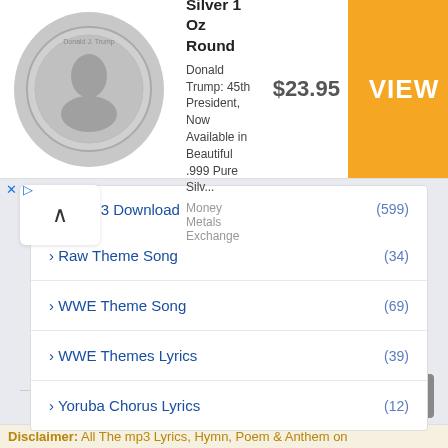[Figure (other): Advertisement banner for President Trump .999 Pure Silver 1 Oz Round coin from Money Metals Exchange, priced at $23.95 with a VIEW button]
› Music Mp3 Download (599)
› Raw Theme Song (34)
› WWE Theme Song (69)
› WWE Themes Lyrics (39)
› Yoruba Chorus Lyrics (12)
Disclaimer: All The mp3 Lyrics, Hymn, Poem & Anthem on